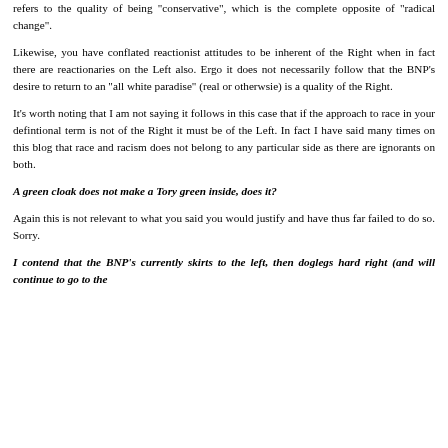refers to the quality of being "conservative", which is the complete opposite of "radical change".
Likewise, you have conflated reactionist attitudes to be inherent of the Right when in fact there are reactionaries on the Left also. Ergo it does not necessarily follow that the BNP's desire to return to an "all white paradise" (real or otherwsie) is a quality of the Right.
It's worth noting that I am not saying it follows in this case that if the approach to race in your defintional term is not of the Right it must be of the Left. In fact I have said many times on this blog that race and racism does not belong to any particular side as there are ignorants on both.
A green cloak does not make a Tory green inside, does it?
Again this is not relevant to what you said you would justify and have thus far failed to do so. Sorry.
I contend that the BNP's currently skirts to the left, then doglegs hard right (and will continue to go to the